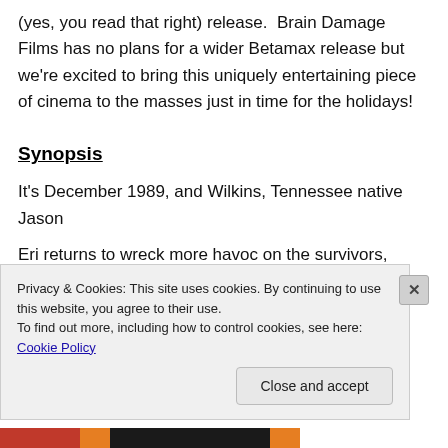(yes, you read that right) release.  Brain Damage Films has no plans for a wider Betamax release but we're excited to bring this uniquely entertaining piece of cinema to the masses just in time for the holidays!
Synopsis
It's December 1989, and Wilkins, Tennessee native Jason
Eri returns to wreck more havoc on the survivors, friends
Privacy & Cookies: This site uses cookies. By continuing to use this website, you agree to their use.
To find out more, including how to control cookies, see here: Cookie Policy